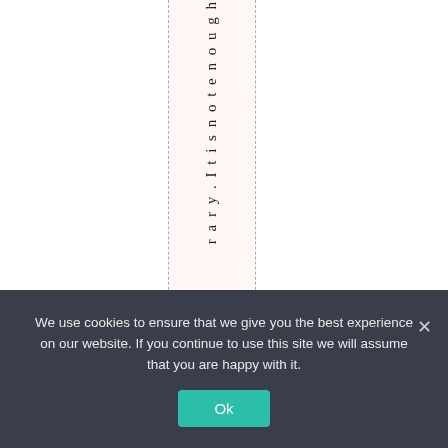r a r y . I t i s n o t e n o u g h
We use cookies to ensure that we give you the best experience on our website. If you continue to use this site we will assume that you are happy with it.